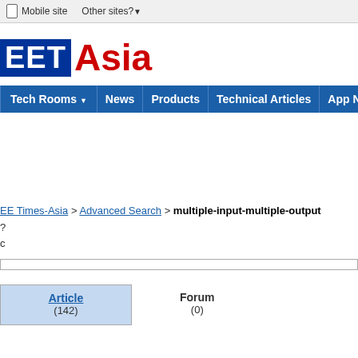Mobile site   Other sites?▼
EET Asia
Tech Rooms ▼  News  Products  Technical Articles  App No
EE Times-Asia > Advanced Search > multiple-input-multiple-output
?
c
Article (142)   Forum (0)